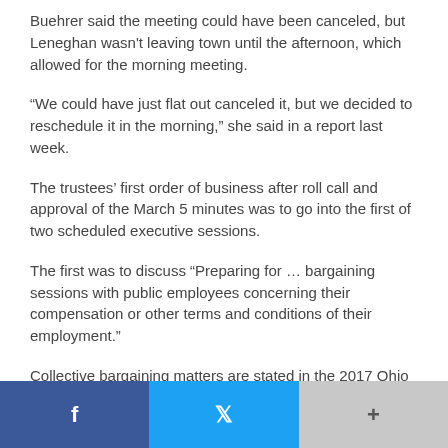Buehrer said the meeting could have been canceled, but Leneghan wasn't leaving town until the afternoon, which allowed for the morning meeting.
“We could have just flat out canceled it, but we decided to reschedule it in the morning,” she said in a report last week.
The trustees’ first order of business after roll call and approval of the March 5 minutes was to go into the first of two scheduled executive sessions.
The first was to discuss “Preparing for … bargaining sessions with public employees concerning their compensation or other terms and conditions of their employment.”
Collective bargaining matters are stated in the 2017 Ohio Sunshine Laws manual as one of the nine permissible reasons for trustees to call an executive session and hold a discussion behind closed doors away from the public.